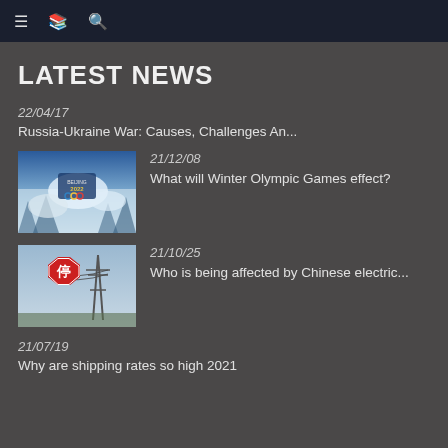☰ 📖 🔍
LATEST NEWS
22/04/17
Russia-Ukraine War: Causes, Challenges An...
[Figure (photo): Beijing 2022 Winter Olympics logo with snowy trees background]
21/12/08
What will Winter Olympic Games effect?
[Figure (photo): Chinese stop sign (停) with electrical tower in background]
21/10/25
Who is being affected by Chinese electric...
21/07/19
Why are shipping rates so high 2021